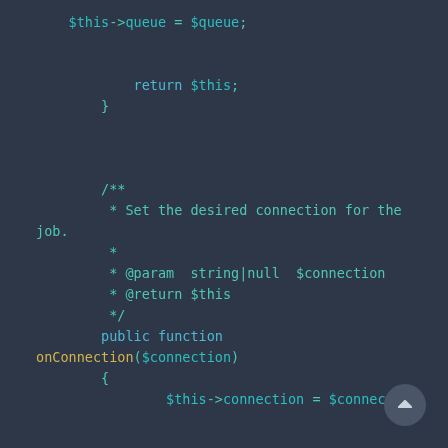[Figure (screenshot): Code editor screenshot showing PHP code with dark background. Contains a closing brace for a method returning $this, a docblock comment for setConnection method, and the public function onConnection($connection) method body setting $this->connection and returning $this.]